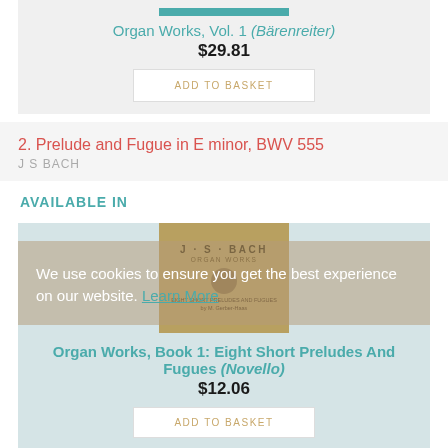Organ Works, Vol. 1 (Bärenreiter)
$29.81
ADD TO BASKET
2. Prelude and Fugue in E minor, BWV 555
J S BACH
AVAILABLE IN
[Figure (photo): Book cover of J.S. Bach Organ Works with golden/tan cover]
We use cookies to ensure you get the best experience on our website. Learn More
Organ Works, Book 1: Eight Short Preludes And Fugues (Novello)
$12.06
ADD TO BASKET